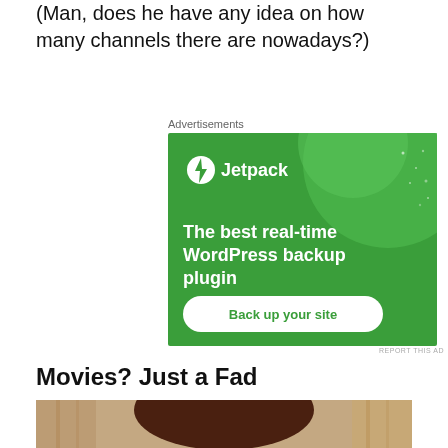(Man, does he have any idea on how many channels there are nowadays?)
[Figure (screenshot): Jetpack advertisement banner: green background with large circle graphic, Jetpack logo with lightning bolt icon, text 'The best real-time WordPress backup plugin', white button 'Back up your site'. Small 'Advertisements' label above and 'REPORT THIS AD' text below right.]
Movies? Just a Fad
[Figure (photo): Partial photo of a person with dark hair, cropped at bottom of page]